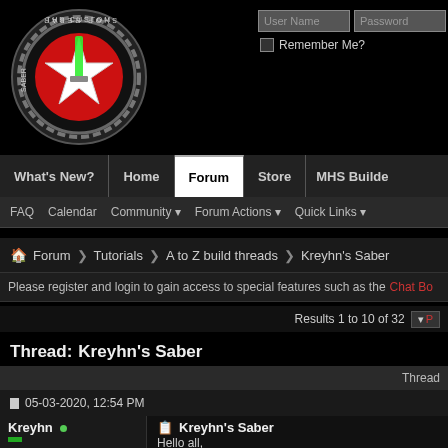[Figure (logo): The Custom Saber Shop circular logo with red background, white star, green lightsaber and gear border]
User Name | Password | Remember Me?
What's New? | Home | Forum | Store | MHS Builder
FAQ  Calendar  Community ▼  Forum Actions ▼  Quick Links ▼
Forum ➤ Tutorials ➤ A to Z build threads ➤ Kreyhn's Saber
Please register and login to gain access to special features such as the Chat Bo
Results 1 to 10 of 32
Thread: Kreyhn's Saber
Thread
05-03-2020, 12:54 PM
Kreyhn •
Kreyhn's Saber
Hello all,